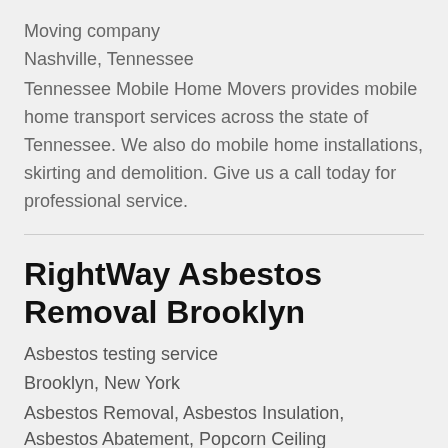Moving company
Nashville, Tennessee
Tennessee Mobile Home Movers provides mobile home transport services across the state of Tennessee. We also do mobile home installations, skirting and demolition. Give us a call today for professional service.
RightWay Asbestos Removal Brooklyn
Asbestos testing service
Brooklyn, New York
Asbestos Removal, Asbestos Insulation, Asbestos Abatement, Popcorn Ceiling